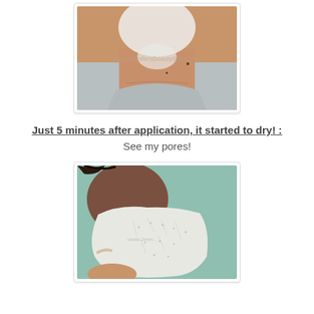[Figure (photo): Close-up photo of a person's neck and chin area with a white face mask applied, wearing a gray tank top. A watermark is visible across the image.]
Just 5 minutes after application, it started to dry! :
See my pores!
[Figure (photo): Extreme close-up photo of a person's nose and mouth area with a thick white drying face mask applied, showing visible pores through the mask.]